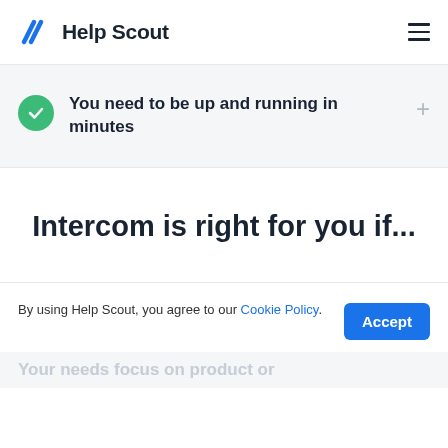[Figure (logo): Help Scout logo with blue zigzag icon and 'Help Scout' text in dark navy]
You need to be up and running in minutes
Intercom is right for you if...
By using Help Scout, you agree to our Cookie Policy.
Your needs focus on product or